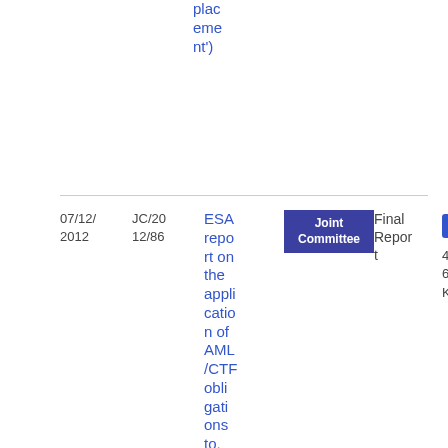placement')
| Date | Ref | Title | Committee | Type | File |
| --- | --- | --- | --- | --- | --- |
| 07/12/2012 | JC/2012/86 | ESA report on the application of AML/CTF obligations to, and the AML/CTF | Joint Committee | Final Report | PDF 476.42 KB |